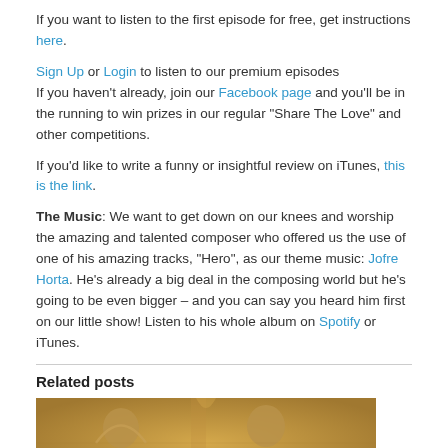If you want to listen to the first episode for free, get instructions here.
Sign Up or Login to listen to our premium episodes
If you haven't already, join our Facebook page and you'll be in the running to win prizes in our regular “Share The Love” and other competitions.
If you'd like to write a funny or insightful review on iTunes, this is the link.
The Music: We want to get down on our knees and worship the amazing and talented composer who offered us the use of one of his amazing tracks, “Hero”, as our theme music: Jofre Horta. He’s already a big deal in the composing world but he’s going to be even bigger – and you can say you heard him first on our little show! Listen to his whole album on Spotify or iTunes.
Related posts
[Figure (photo): A sepia/golden-toned historical or religious illustration showing two figures]